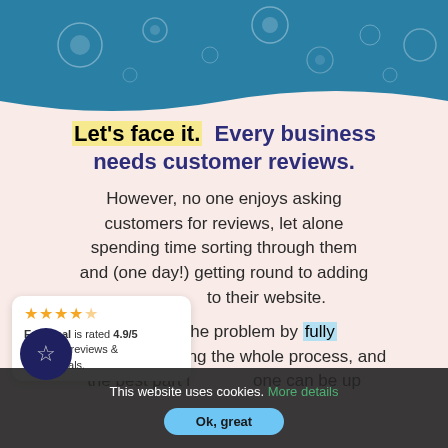[Figure (illustration): Teal/blue header banner with decorative bubbles floating in the background]
Let's face it. Every business needs customer reviews.
However, no one enjoys asking customers for reviews, let alone spending time sorting through them and (one day!) getting round to adding to their website.
We solve the problem by fully automating the whole process, and the best part is... anyone can be up
[Figure (infographic): Rating badge: Endorsal is rated 4.9/5 from 367 reviews & testimonials with 4 gold stars]
This website uses cookies. More details  Ok, great